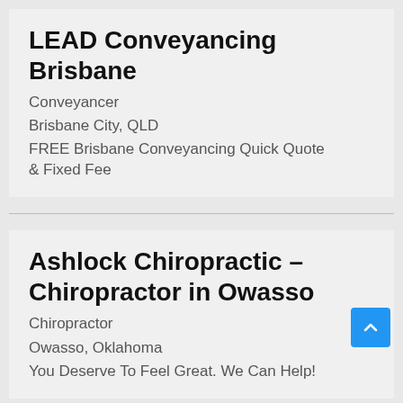LEAD Conveyancing Brisbane
Conveyancer
Brisbane City, QLD
FREE Brisbane Conveyancing Quick Quote & Fixed Fee
Ashlock Chiropractic – Chiropractor in Owasso
Chiropractor
Owasso, Oklahoma
You Deserve To Feel Great. We Can Help!
Jay's One Stop Window